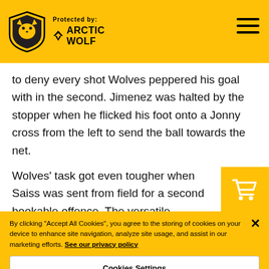Protected by: Arctic Wolf
to deny every shot Wolves peppered his goal with in the second. Jimenez was halted by the stopper when he flicked his foot onto a Jonny cross from the left to send the ball towards the net.
Wolves' task got even tougher when Saiss was sent from field for a second bookable offence. The versatile Moroccan was penalised for pulling back Wilfred Zaha and found his
By clicking "Accept All Cookies", you agree to the storing of cookies on your device to enhance site navigation, analyze site usage, and assist in our marketing efforts. See our privacy policy
Cookies Settings
Reject All